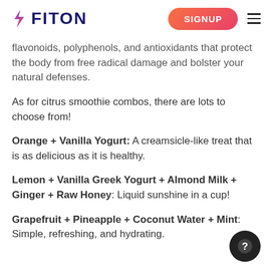FITON | SIGNUP
flavonoids, polyphenols, and antioxidants that protect the body from free radical damage and bolster your natural defenses.
As for citrus smoothie combos, there are lots to choose from!
Orange + Vanilla Yogurt: A creamsicle-like treat that is as delicious as it is healthy.
Lemon + Vanilla Greek Yogurt + Almond Milk + Ginger + Raw Honey: Liquid sunshine in a cup!
Grapefruit + Pineapple + Coconut Water + Mint: Simple, refreshing, and hydrating.